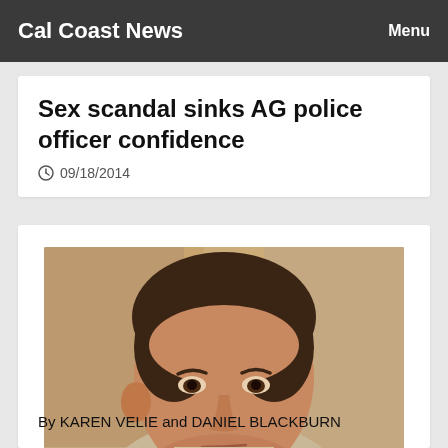Cal Coast News | Menu
Sex scandal sinks AG police officer confidence
09/18/2014
[Figure (photo): Head and shoulders photo of Steve Adams, a middle-aged man with dark hair, wearing a light tan jacket, looking to the side with a serious expression.]
Steve Adams
By KAREN VELIE and DANIEL BLACKBURN